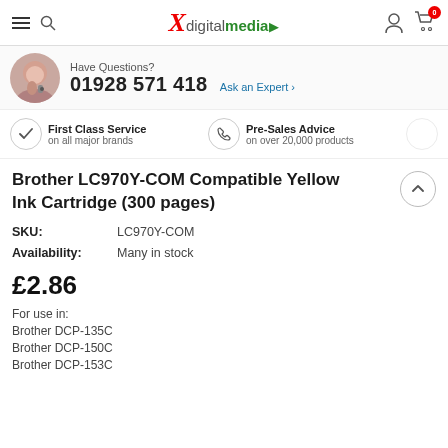X digitalmedia — navigation header with hamburger, search, logo, user icon, cart (0)
Have Questions?
01928 571 418  Ask an Expert >
First Class Service on all major brands | Pre-Sales Advice on over 20,000 products
Brother LC970Y-COM Compatible Yellow Ink Cartridge (300 pages)
SKU: LC970Y-COM
Availability: Many in stock
£2.86
For use in:
Brother DCP-135C
Brother DCP-150C
Brother DCP-153C